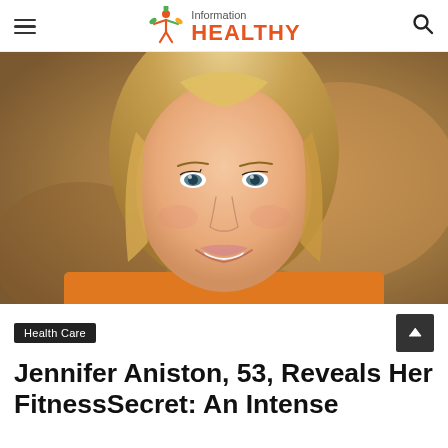Information HEALTHY
[Figure (photo): Close-up photo of a smiling blond woman with blue-green eyes and shoulder-length straight hair, wearing a warm-toned top, photographed against a blurred brownish background.]
Health Care
Jennifer Aniston, 53, Reveals Her FitnessSecret: An Intense